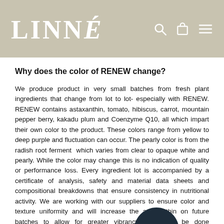LINNÉ
Why does the color of RENEW change?
We produce product in very small batches from fresh plant ingredients that change from lot to lot- especially with RENEW. RENEW contains astaxanthin, tomato, hibiscus, carrot, mountain pepper berry, kakadu plum and Coenzyme Q10, all which impart their own color to the product. These colors range from yellow to deep purple and fluctuation can occur. The pearly color is from the radish root ferment which varies from clear to opaque white and pearly. While the color may change this is no indication of quality or performance loss. Every ingredient lot is accompanied by a certificate of analysis, safety and material data sheets and compositional breakdowns that ensure consistency in nutritional activity. We are working with our suppliers to ensure color and texture uniformity and will increase the astaxanthin on future batches to allow for greater vibrancy - this will be done conservatively as to not tint the skin orange. Thank you for your patience as we work to improve the appearance of this product.